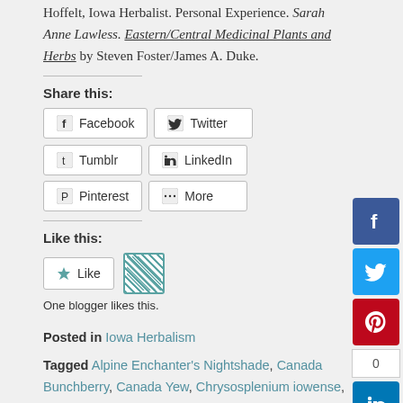Hoffelt, Iowa Herbalist. Personal Experience. Sarah Anne Lawless. Eastern/Central Medicinal Plants and Herbs by Steven Foster/James A. Duke.
Share this:
Facebook  Twitter  Tumblr  LinkedIn  Pinterest  More
Like this:
Like  One blogger likes this.
Posted in Iowa Herbalism
Tagged Alpine Enchanter's Nightshade, Canada Bunchberry, Canada Yew, Chrysosplenium iowense, Driftless Area Herbalism, Dwarf Horsetail, iowa golden saxifrage, Iowa Herbalist, northern blue monkshood, prickly pear cactus, rare iowa plants,